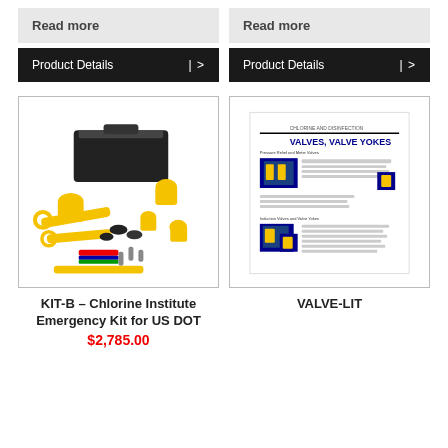Read more
Read more
Product Details  | >
Product Details  | >
[Figure (photo): KIT-B chlorine institute emergency kit with yellow tools and black toolbox spread out]
[Figure (photo): VALVE-LIT document showing Valves, Valve Yokes with images of valves]
KIT-B – Chlorine Institute Emergency Kit for US DOT
VALVE-LIT
$2,785.00